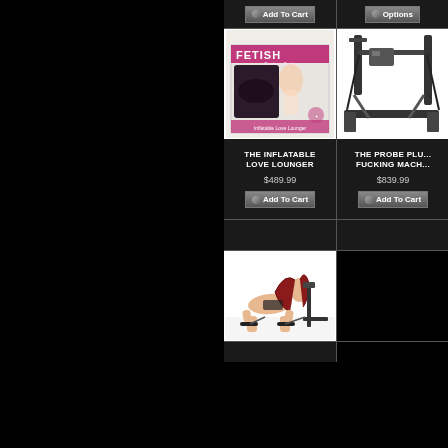[Figure (screenshot): E-commerce product listing page showing adult novelty products in a dark-themed grid layout. Left half of page is black. Right half shows product grid with two rows of products and partial images at bottom.]
Add To Cart
Options
THE INFLATABLE LOVE LOUNGER
$489.99
Add To Cart
THE PROBE PLU... FUCKING MACH...
$839.99
Add To Cart